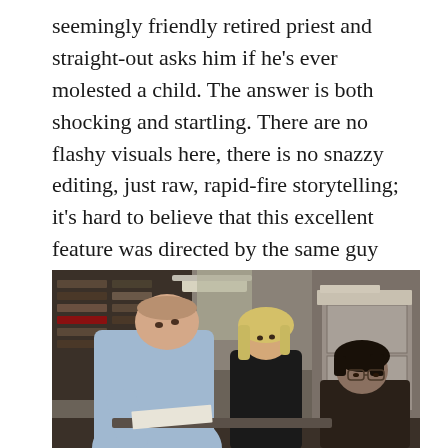seemingly friendly retired priest and straight-out asks him if he's ever molested a child. The answer is both shocking and startling. There are no flashy visuals here, there is no snazzy editing, just raw, rapid-fire storytelling; it's hard to believe that this excellent feature was directed by the same guy who brought us the Adam Sandler stinker The Cobbler (2014), but I guess everyone's entitled their one dud!
[Figure (photo): A newsroom scene showing three people: a man in a blue shirt leaning over, a blonde woman in a black top, and a man with dark hair and glasses seated at lower right. Office bookshelves and filing cabinets visible in background.]